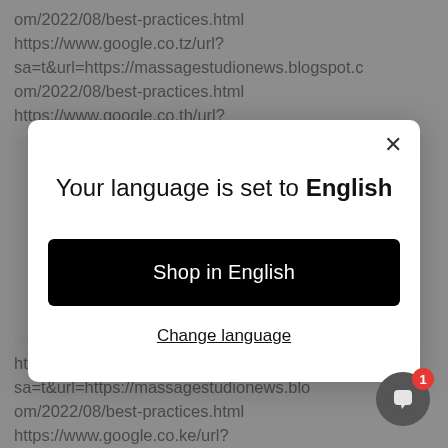om/2022/08/best-practices.html https://www.google.co.tz/url? sa=t&url=https://massagestudionews.blogspot.com/2022/08/best-practices.html https://www.google.co.th/url?
[Figure (screenshot): A modal dialog popup with title 'Your language is set to English', a black 'Shop in English' button, and an underlined 'Change language' link. A close button (X) is in the top right corner of the modal.]
om/2022/08/best-practices.html https://www.google.co.kr/url? sa=t&url=https://massagestudionews.blogspot.com/2022/08/best-practices.html https://www.google.co.ke/url? sa=t&url=https://massagestudionews.blo